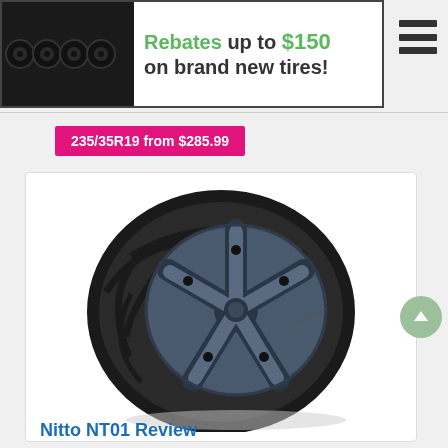[Figure (illustration): Banner advertisement showing four black wheel/tire silhouettes on dark background with text 'Rebates up to $150 on brand new tires!' and a hamburger menu icon on the right.]
235/35R19 from $285.99
[Figure (photo): Product photo of a Nitto NT01 performance tire mounted on a dark blue/gray 5-spoke wheel, shown at a slight angle against a white background.]
Nitto NT01 Review